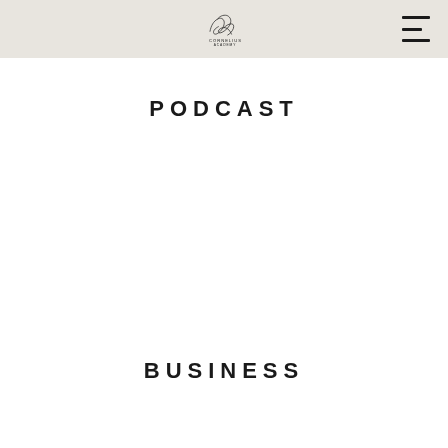Aptom Cornelius Academy — logo and navigation header
PODCAST
BUSINESS